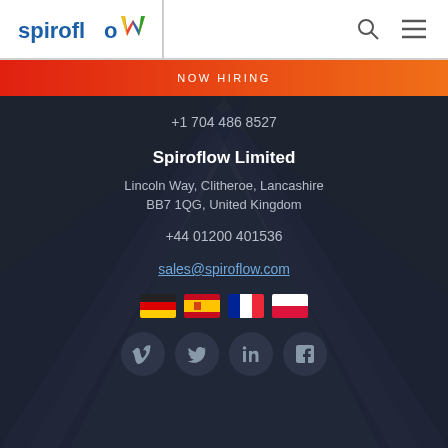[Figure (logo): Spiroflow logo with colorful W mark]
NOW HIRING
+1 704 486 8527
Spiroflow Limited
Lincoln Way, Clitheroe, Lancashire
BB7 1QG, United Kingdom
+44 01200 401536
sales@spiroflow.com
[Figure (illustration): Flag icons: Germany, Spain, France, Poland]
[Figure (illustration): Social media icons: Vimeo, Twitter, LinkedIn, Facebook]